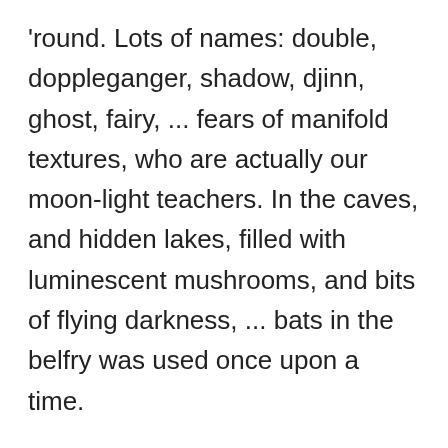'round. Lots of names: double, doppleganger, shadow, djinn, ghost, fairy, ... fears of manifold textures, who are actually our moon-light teachers. In the caves, and hidden lakes, filled with luminescent mushrooms, and bits of flying darkness, ... bats in the belfry was used once upon a time.
I was born in 1940, lost my political virginity when I was fifteen. Lost hope on a long ago November. The better I